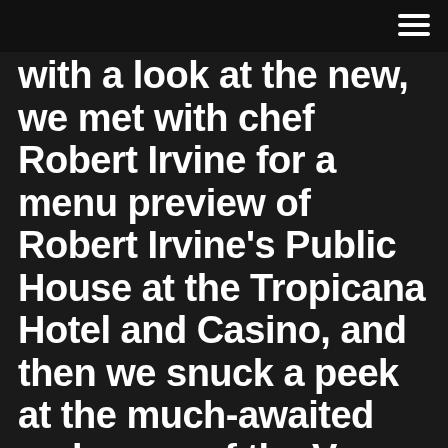with a look at the new, we met with chef Robert Irvine for a menu preview of Robert Irvine's Public House at the Tropicana Hotel and Casino, and then we snuck a peek at the much-awaited makeover of the Vegas icon hotel and brewery, Ellis Island.
Celebrity Chef Robert Irvine will be at Hollywood Casino Toledo on Saturday, August 3, 2019, for a Restaurant Takeover you don't want to miss! Spend the day with Chef